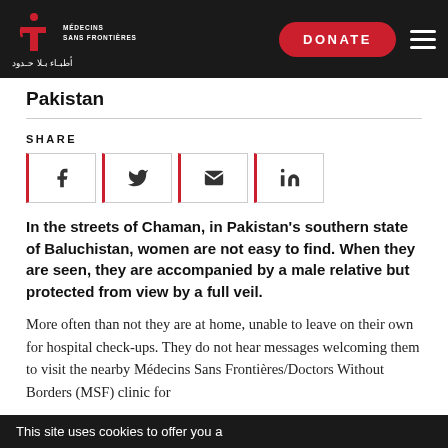MÉDECINS SANS FRONTIÈRES / أطبـاء بـلا حـدود — DONATE
Pakistan
SHARE
In the streets of Chaman, in Pakistan's southern state of Baluchistan, women are not easy to find. When they are seen, they are accompanied by a male relative but protected from view by a full veil.
More often than not they are at home, unable to leave on their own for hospital check-ups. They do not hear messages welcoming them to visit the nearby Médecins Sans Frontières/Doctors Without Borders (MSF) clinic for
This site uses cookies to offer you a